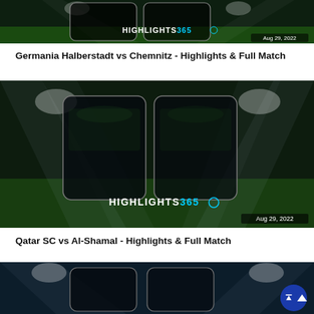[Figure (screenshot): Highlights365 soccer match thumbnail with stadium background showing two dark screens side by side, date Aug 29, 2022]
Germania Halberstadt vs Chemnitz - Highlights & Full Match
[Figure (screenshot): Highlights365 soccer match thumbnail with stadium background showing two dark screens side by side, date Aug 29, 2022]
Qatar SC vs Al-Shamal - Highlights & Full Match
[Figure (screenshot): Highlights365 soccer match thumbnail partial view at bottom of page]